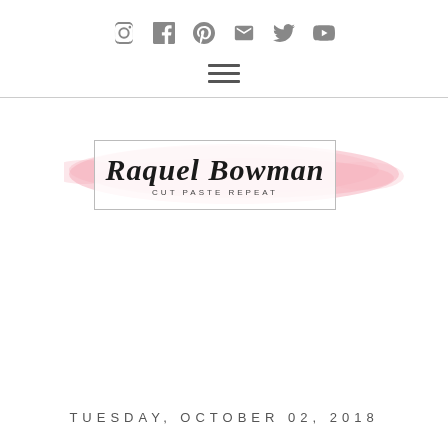Social media icons: Instagram, Facebook, Pinterest, Email, Twitter, YouTube
[Figure (logo): Raquel Bowman Cut Paste Repeat blog logo with pink watercolor brush stroke background and bordered text box]
TUESDAY, OCTOBER 02, 2018